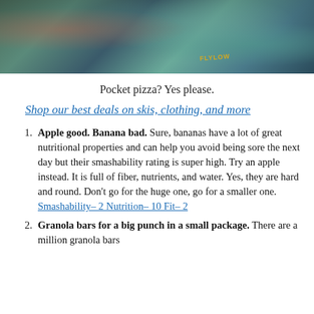[Figure (photo): A person holding food (pocket pizza) in a snowy outdoor setting, wearing a teal Flylow jacket]
Pocket pizza? Yes please.
Shop our best deals on skis, clothing, and more
Apple good. Banana bad. Sure, bananas have a lot of great nutritional properties and can help you avoid being sore the next day but their smashability rating is super high. Try an apple instead. It is full of fiber, nutrients, and water. Yes, they are hard and round. Don't go for the huge one, go for a smaller one. Smashability- 2 Nutrition- 10 Fit- 2
Granola bars for a big punch in a small package. There are a million granola bars...